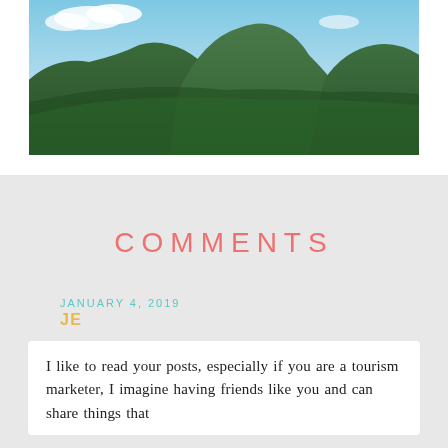[Figure (photo): Landscape photo of green forested mountains under a blue sky with white clouds]
COMMENTS
JANUARY 4, 2019
JE
I like to read your posts, especially if you are a tourism marketer, I imagine having friends like you and can share things that